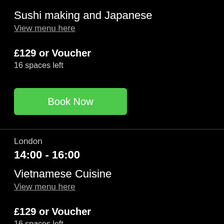Sushi making and Japanese
View menu here
£129 or Voucher
16 spaces left
[Figure (other): Green 'Book Now' button]
London
14:00 - 16:00
Vietnamese Cuisine
View menu here
£129 or Voucher
16 spaces left
[Figure (other): Green 'Book Now' button]